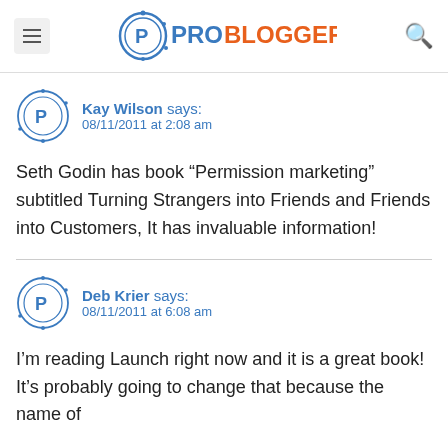ProBlogger
Kay Wilson says:
08/11/2011 at 2:08 am
Seth Godin has book “Permission marketing” subtitled Turning Strangers into Friends and Friends into Customers, It has invaluable information!
Deb Krier says:
08/11/2011 at 6:08 am
I’m reading Launch right now and it is a great book! It’s probably going to change that because the name of